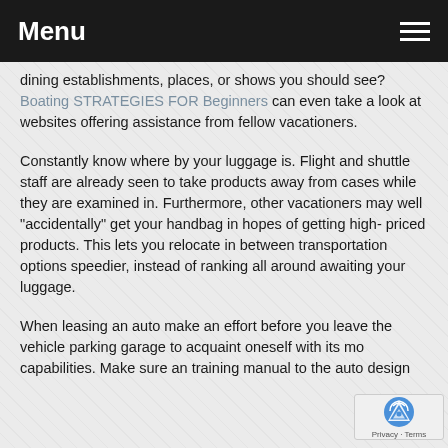Menu
dining establishments, places, or shows you should see? Boating STRATEGIES FOR Beginners can even take a look at websites offering assistance from fellow vacationers.
Constantly know where by your luggage is. Flight and shuttle staff are already seen to take products away from cases while they are examined in. Furthermore, other vacationers may well "accidentally" get your handbag in hopes of getting high-priced products. This lets you relocate in between transportation options speedier, instead of ranking all around awaiting your luggage.
When leasing an auto make an effort before you leave the vehicle parking garage to acquaint oneself with its more capabilities. Make sure an training manual to the auto design